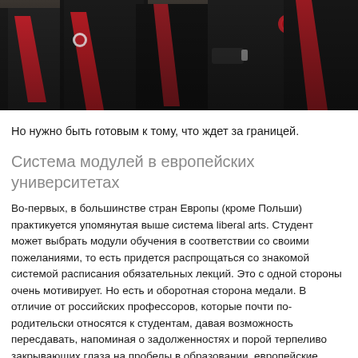[Figure (photo): Graduates in black academic gowns with red sashes at a graduation ceremony, photographed from behind/side angle]
Но нужно быть готовым к тому, что ждет за границей.
Система модулей в европейских университетах
Во-первых, в большинстве стран Европы (кроме Польши) практикуется упомянутая выше система liberal arts. Студент может выбрать модули обучения в соответствии со своими пожеланиями, то есть придется распрощаться со знакомой системой расписания обязательных лекций. Это с одной стороны очень мотивирует. Но есть и оборотная сторона медали. В отличие от российских профессоров, которые почти по-родительски относятся к студентам, давая возможность пересдавать, напоминая о задолженностях и порой терпеливо закрывающих глаза на пробелы в образовании, европейские профессора относятся к студентам совершенно иначе. В случае